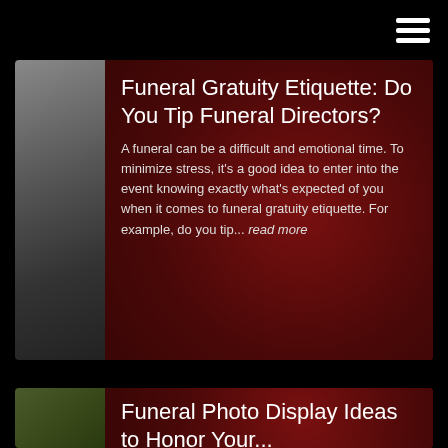≡
[Figure (photo): Grayscale photo thumbnail on left side of first article card]
Funeral Gratuity Etiquette: Do You Tip Funeral Directors?
A funeral can be a difficult and emotional time. To minimize stress, it's a good idea to enter into the event knowing exactly what's expected of you when it comes to funeral gratuity etiquette. For example, do you tip... read more
[Figure (photo): Green plant/foliage photo thumbnail on left side of second article card]
Funeral Photo Display Ideas to Honor Your...